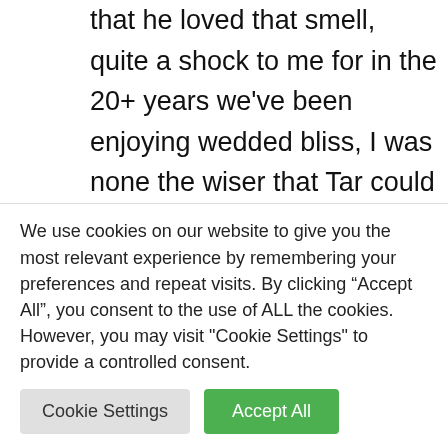that he loved that smell, quite a shock to me for in the 20+ years we've been enjoying wedded bliss, I was none the wiser that Tar could make him yearn.
When hubby was a youngster, dear old dad worked in the oil field as a drilling superintendent. Dad was out
We use cookies on our website to give you the most relevant experience by remembering your preferences and repeat visits. By clicking “Accept All”, you consent to the use of ALL the cookies. However, you may visit "Cookie Settings" to provide a controlled consent.